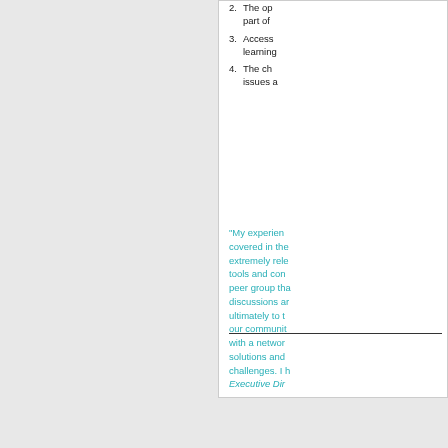2. The opportunity to be part of
3. Access to learning
4. The challenges. I issues a
"My experience covered in the extremely relevant tools and concepts peer group that discussions and ultimately to our community with a network solutions and challenges. I Executive Director